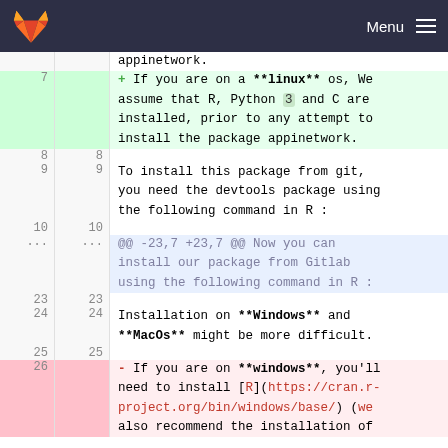Menu
appinetwork.
+ If you are on a **linux** os, We assume that R, Python 3 and C are installed, prior to any attempt to install the package appinetwork.
8  8
9  9  To install this package from git, you need the devtools package using the following command in R :
10  10
@@ -23,7 +23,7 @@ Now you can install our package from Gitlab using the following command in R :
23  23
24  24  Installation on **Windows** and **MacOs** might be more difficult.
25  25
26  - If you are on **windows**, you'll need to install [R](https://cran.r-project.org/bin/windows/base/) (we also recommend the installation of